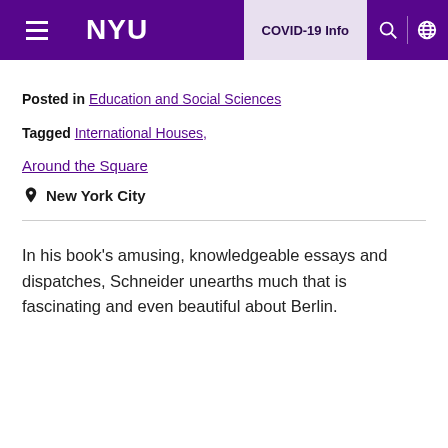NYU | COVID-19 Info
Posted in Education and Social Sciences
Tagged International Houses,
Around the Square
New York City
In his book's amusing, knowledgeable essays and dispatches, Schneider unearths much that is fascinating and even beautiful about Berlin.